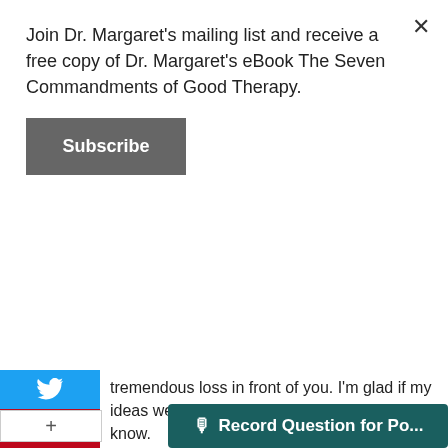Join Dr. Margaret's mailing list and receive a free copy of Dr. Margaret's eBook The Seven Commandments of Good Therapy.
Subscribe
tremendous loss in front of you. I'm glad if my ideas were helpful. Thanks for letting me know.
Reply
Yamatograd
7 years ago
An interesting article - and very applicable to other areas of life. I've seen the term "anticipatory grief" used on a few pulmonary fibrosis forums that are for patients and caregivers. My husband has pulmonary fibrosis which is a rare lung disease with no cure, and a prognosis of three to five years (although he is in his 8th year-we are...
Record Question for Po...